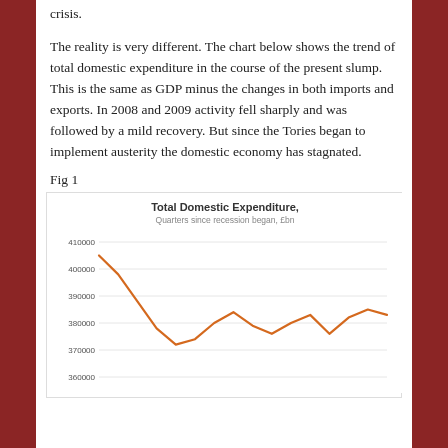crisis.
The reality is very different. The chart below shows the trend of total domestic expenditure in the course of the present slump. This is the same as GDP minus the changes in both imports and exports. In 2008 and 2009 activity fell sharply and was followed by a mild recovery. But since the Tories began to implement austerity the domestic economy has stagnated.
Fig 1
[Figure (line-chart): Line chart showing Total Domestic Expenditure in quarters since recession began (£bn). The line starts around 405000, drops sharply to about 372000, recovers partially to about 384000, then fluctuates and stagnates around 383000-386000.]